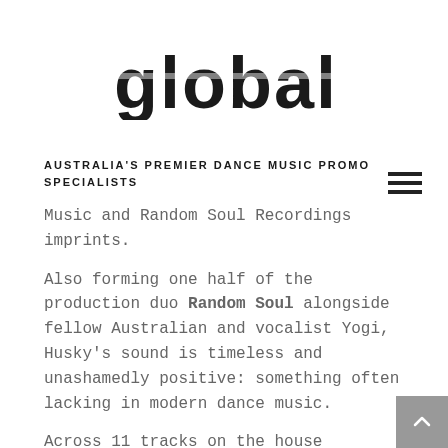[Figure (logo): global logo in bold blocky monospaced-style font]
AUSTRALIA'S PREMIER DANCE MUSIC PROMO SPECIALISTS
Music and Random Soul Recordings imprints.
Also forming one half of the production duo Random Soul alongside fellow Australian and vocalist Yogi, Husky's sound is timeless and unashamedly positive: something often lacking in modern dance music.
Across 11 tracks on the house spectrum from deep to soulful and into fully-fledged disco bangers, Go Don't Stop is a flawless expression of an artist operating at